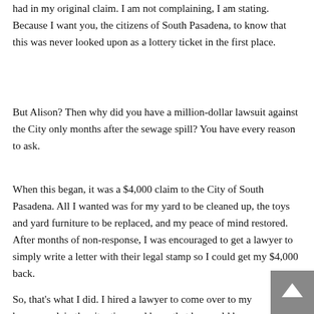had in my original claim. I am not complaining, I am stating. Because I want you, the citizens of South Pasadena, to know that this was never looked upon as a lottery ticket in the first place.
But Alison? Then why did you have a million-dollar lawsuit against the City only months after the sewage spill? You have every reason to ask.
When this began, it was a $4,000 claim to the City of South Pasadena. All I wanted was for my yard to be cleaned up, the toys and yard furniture to be replaced, and my peace of mind restored. After months of non-response, I was encouraged to get a lawyer to simply write a letter with their legal stamp so I could get my $4,000 back.
So, that's what I did. I hired a lawyer to come over to my home, explain the situation, and hope that he would be willing